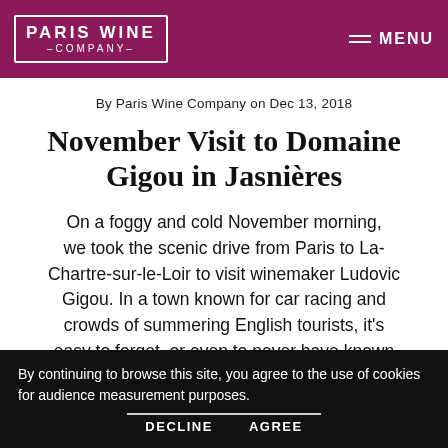PARIS WINE COMPANY | MENU
By Paris Wine Company on Dec 13, 2018
November Visit to Domaine Gigou in Jasnières
On a foggy and cold November morning, we took the scenic drive from Paris to La-Chartre-sur-le-Loir to visit winemaker Ludovic Gigou. In a town known for car racing and crowds of summering English tourists, it's easy to forget, or even to never have known about, the tiny appellation of Jasnières that lies just above the Loir river.
By continuing to browse this site, you agree to the use of cookies for audience measurement purposes. DECLINE AGREE